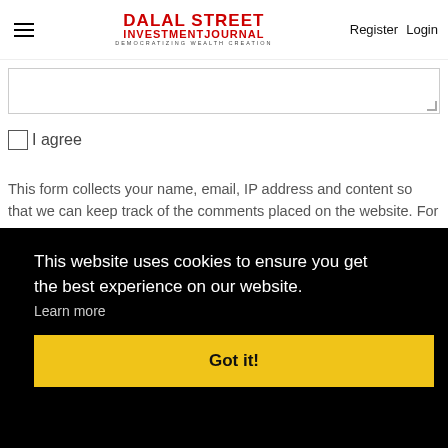DALAL STREET INVESTMENT JOURNAL — DEMOCRATIZING WEALTH CREATION | Register | Login
[Figure (screenshot): Textarea input box with resize handle at bottom-right corner]
I agree
This form collects your name, email, IP address and content so that we can keep track of the comments placed on the website. For more info check our
This website uses cookies to ensure you get the best experience on our website. Learn more
Got it!